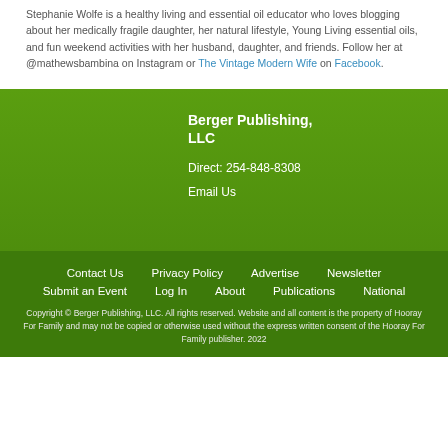Stephanie Wolfe is a healthy living and essential oil educator who loves blogging about her medically fragile daughter, her natural lifestyle, Young Living essential oils, and fun weekend activities with her husband, daughter, and friends. Follow her at @mathewsbambina on Instagram or The Vintage Modern Wife on Facebook.
Berger Publishing, LLC
Direct: 254-848-8308
Email Us
Contact Us  Privacy Policy  Advertise  Newsletter  Submit an Event  Log In  About  Publications  National
Copyright © Berger Publishing, LLC. All rights reserved. Website and all content is the property of Hooray For Family and may not be copied or otherwise used without the express written consent of the Hooray For Family publisher. 2022